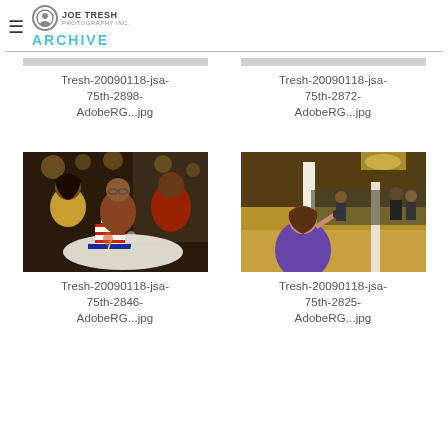JOE TRESH ARCHIVE
Tresh-20090118-jsa-75th-2898-AdobeRG...jpg
Tresh-20090118-jsa-75th-2872-AdobeRG...jpg
[Figure (photo): Three women smiling at a table with a patriotic hat decoration]
Tresh-20090118-jsa-75th-2846-AdobeRG...jpg
[Figure (photo): Crowd at an event in a ballroom, woman in purple dress in foreground]
Tresh-20090118-jsa-75th-2825-AdobeRG...jpg